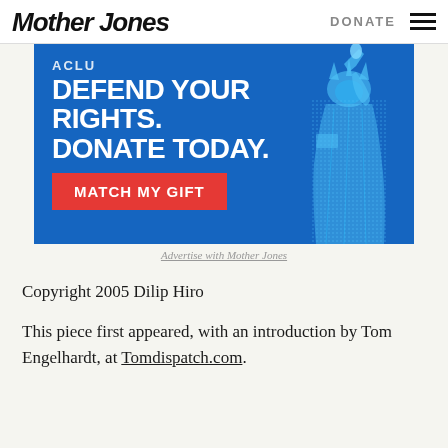Mother Jones | DONATE
[Figure (infographic): Blue ACLU-style advertisement banner with text 'DEFEND YOUR RIGHTS. DONATE TODAY.' and a red 'MATCH MY GIFT' button, with a Statue of Liberty illustration on the right side.]
Advertise with Mother Jones
Copyright 2005 Dilip Hiro
This piece first appeared, with an introduction by Tom Engelhardt, at Tomdispatch.com.